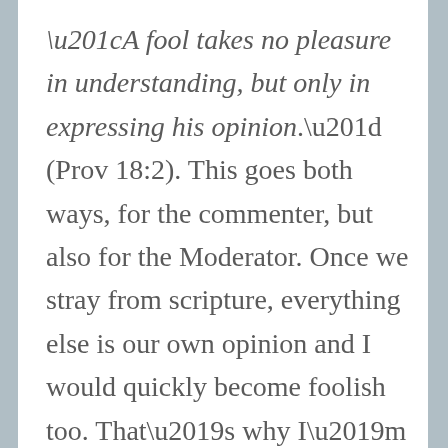“A fool takes no pleasure in understanding, but only in expressing his opinion.” (Prov 18:2). This goes both ways, for the commenter, but also for the Moderator. Once we stray from scripture, everything else is our own opinion and I would quickly become foolish too. That’s why I’m vigilant, I don’t want to provide a forum for a fool to increase his sin nor to provide a pit